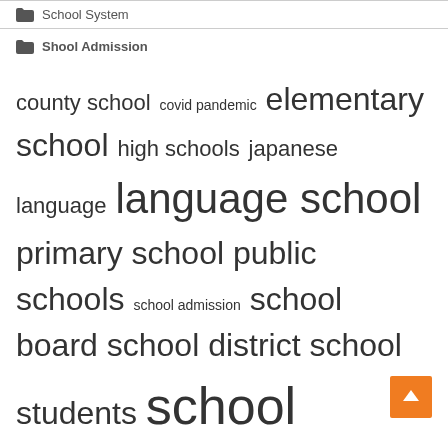School System
Shool Admission
[Figure (other): Tag cloud with education-related terms in varying font sizes: county school, covid pandemic, elementary school, high schools, japanese language, language school, primary school, public schools, school admission, school board, school district, school students, school system, school year, students school, united states]
[Figure (other): Back to top button - orange square with white upward arrow]